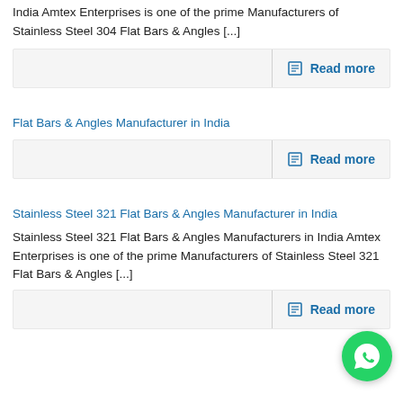India Amtex Enterprises is one of the prime Manufacturers of Stainless Steel 304 Flat Bars & Angles [...]
Read more
Flat Bars & Angles Manufacturer in India
Read more
Stainless Steel 321 Flat Bars & Angles Manufacturer in India
Stainless Steel 321 Flat Bars & Angles Manufacturers in India Amtex Enterprises is one of the prime Manufacturers of Stainless Steel 321 Flat Bars & Angles [...]
Read more
[Figure (other): WhatsApp contact button (green circle with phone handset icon)]